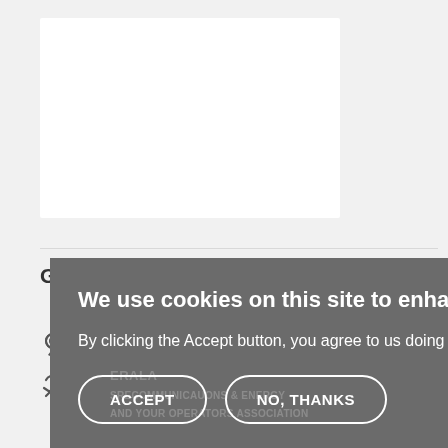[Figure (illustration): White rectangle placeholder image in the upper left area of the page]
GIZ Thailand
Indonesia
Other
We use cookies on this site to enhance your user experience
By clicking the Accept button, you agree to us doing so. More info
ACCEPT
NO, THANKS